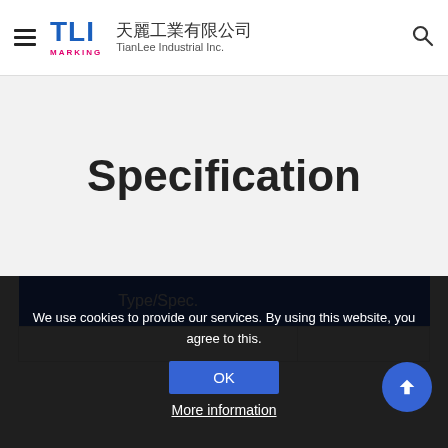TLI MARKING 天麗工業有限公司 TianLee Industrial Inc.
Specification
| Type/Spec. |  |
| --- | --- |
|  |  |
We use cookies to provide our services. By using this website, you agree to this.
OK
More information